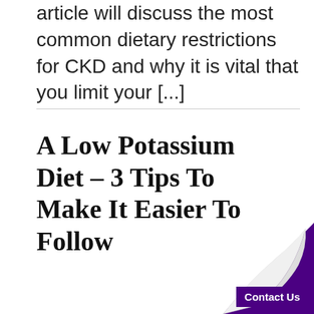article will discuss the most common dietary restrictions for CKD and why it is vital that you limit your [...]
A Low Potassium Diet – 3 Tips To Make It Easier To Follow
Contact Us